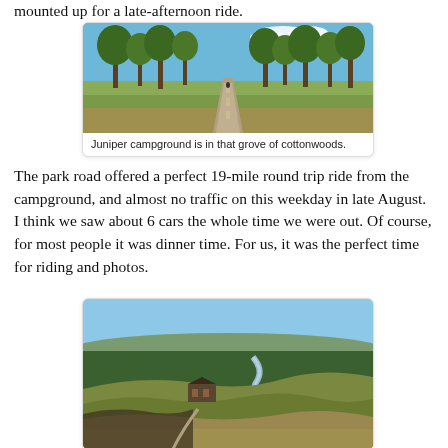mounted up for a late-afternoon ride.
[Figure (photo): A straight road through a grove of cottonwood trees under a blue sky with scattered clouds. A cyclist is visible in the distance on the road, with golden grassy fields on either side.]
Juniper campground is in that grove of cottonwoods.
The park road offered a perfect 19-mile round trip ride from the campground, and almost no traffic on this weekday in late August. I think we saw about 6 cars the whole time we were out. Of course, for most people it was dinner time. For us, it was the perfect time for riding and photos.
[Figure (photo): Aerial view of a rugged badlands landscape with a winding river, dense forest, and a historic-looking building on a hilltop. Rolling hills and valleys stretch to the horizon under a clear blue sky.]